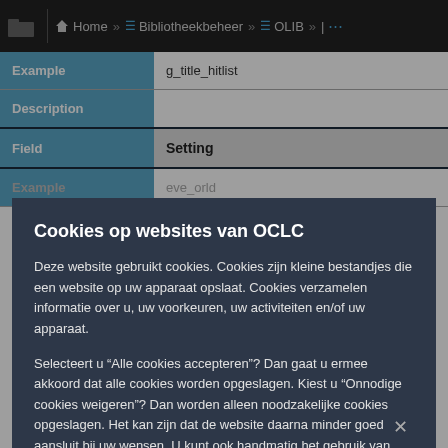Home » Bibliotheekbeheer » OLIB » ...
| Field |  |
| --- | --- |
| Example | g_title_hitlist |
| Description |  |
| Field | Setting |
| Example | eve_orld |
Cookies op websites van OCLC
Deze website gebruikt cookies. Cookies zijn kleine bestandjes die een website op uw apparaat opslaat. Cookies verzamelen informatie over u, uw voorkeuren, uw activiteiten en/of uw apparaat.
Selecteert u “Alle cookies accepteren”? Dan gaat u ermee akkoord dat alle cookies worden opgeslagen. Kiest u “Onnodige cookies weigeren”? Dan worden alleen noodzakelijke cookies opgeslagen. Het kan zijn dat de website daarna minder goed aansluit bij uw wensen. U kunt ook handmatig het gebruik van cookies instellen.
Zie onze cookiemelding voor meer informatie